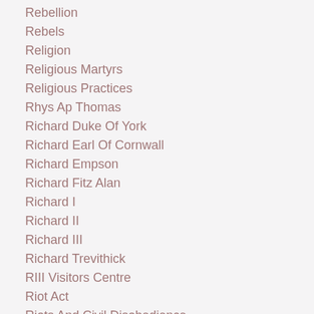Rebellion
Rebels
Religion
Religious Martyrs
Religious Practices
Rhys Ap Thomas
Richard Duke Of York
Richard Earl Of Cornwall
Richard Empson
Richard Fitz Alan
Richard I
Richard II
Richard III
Richard Trevithick
RIII Visitors Centre
Riot Act
Riots And Civil Disobedience
River Tamar
Rober Cecil